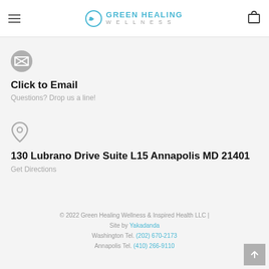Green Healing Wellness
Click to Email
Questions? Drop us a line!
130 Lubrano Drive Suite L15 Annapolis MD 21401
Get Directions
© 2022 Green Healing Wellness & Inspired Health LLC | Site by Yakadanda Washington Tel. (202) 670-2173 Annapolis Tel. (410) 266-9110